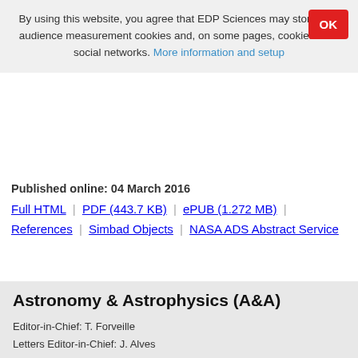By using this website, you agree that EDP Sciences may store web audience measurement cookies and, on some pages, cookies from social networks. More information and setup
Published online: 04 March 2016
Full HTML | PDF (443.7 KB) | ePUB (1.272 MB) | References | Simbad Objects | NASA ADS Abstract Service
Astronomy & Astrophysics (A&A)
Editor-in-Chief: T. Forveille
Letters Editor-in-Chief: J. Alves
Managing Editor: D. Elbaz
ISSN: 0004-6361 ; e-ISSN: 1432-0746
Frequency: 12 volumes per year
Published by: EDP Sciences